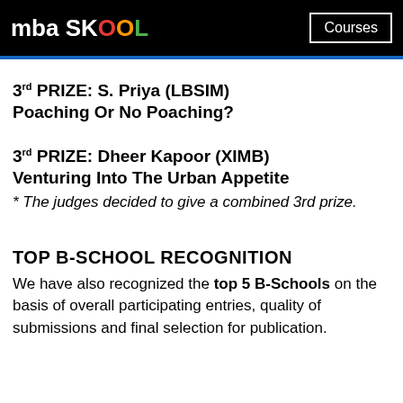mba SKOOL | Courses
3rd PRIZE: S. Priya (LBSIM)
Poaching Or No Poaching?
3rd PRIZE: Dheer Kapoor (XIMB)
Venturing Into The Urban Appetite
* The judges decided to give a combined 3rd prize.
TOP B-SCHOOL RECOGNITION
We have also recognized the top 5 B-Schools on the basis of overall participating entries, quality of submissions and final selection for publication.